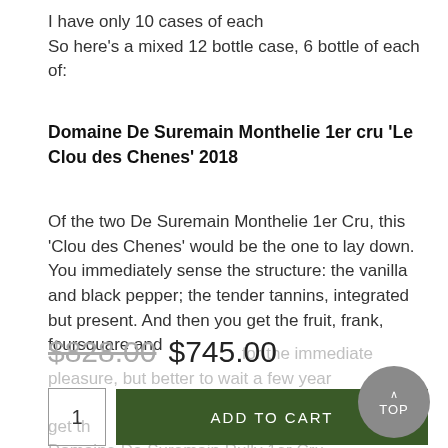I have only 10 cases of each
So here's a mixed 12 bottle case, 6 bottle of each of:
Domaine De Suremain Monthelie 1er cru 'Le Clou des Chenes' 2018
Of the two De Suremain Monthelie 1er Cru, this 'Clou des Chenes' would be the one to lay down. You immediately sense the structure: the vanilla and black pepper; the tender tannins, integrated but present. And then you get the fruit, frank, foursquare and
$828.00 $745.00
1   ADD TO CART